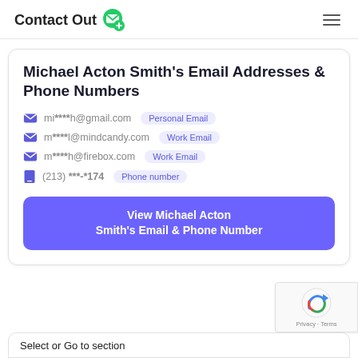ContactOut
Michael Acton Smith's Email Addresses & Phone Numbers
mi****h@gmail.com — Personal Email
m****l@mindcandy.com — Work Email
m****h@firebox.com — Work Email
(213) ***-*174 — Phone number
View Michael Acton Smith's Email & Phone Number
Select or Go to section